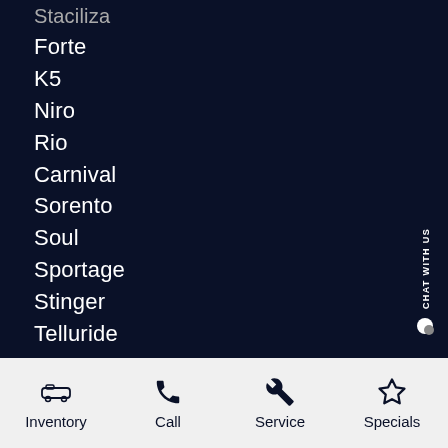Stinger (truncated top)
Forte
K5
Niro
Rio
Carnival
Sorento
Soul
Sportage
Stinger
Telluride
Pre-Owned
View All
Inventory   Call   Service   Specials